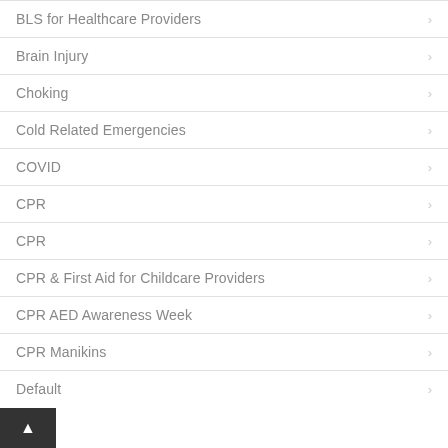BLS for Healthcare Providers
Brain Injury
Choking
Cold Related Emergencies
COVID
CPR
CPR
CPR & First Aid for Childcare Providers
CPR AED Awareness Week
CPR Manikins
Default